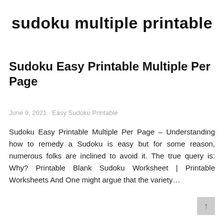sudoku multiple printable
Sudoku Easy Printable Multiple Per Page
June 9, 2021 · Easy Sudoku Printable
Sudoku Easy Printable Multiple Per Page – Understanding how to remedy a Sudoku is easy but for some reason, numerous folks are inclined to avoid it. The true query is: Why? Printable Blank Sudoku Worksheet | Printable Worksheets And One might argue that the variety…